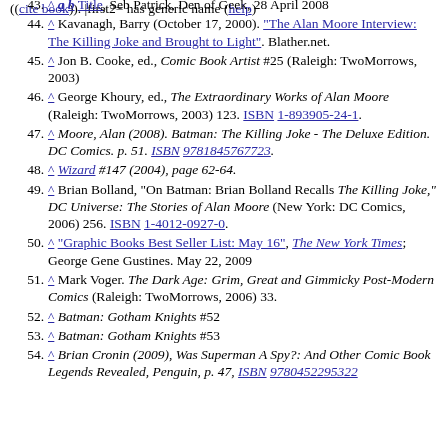((cite_book)). |first2= has generic name (help)
43. ^ a b Title, Seb Patrick, Den of Geek, 28 April 2008
44. ^ Kavanagh, Barry (October 17, 2000). "The Alan Moore Interview: The Killing Joke and Brought to Light". Blather.net.
45. ^ Jon B. Cooke, ed., Comic Book Artist #25 (Raleigh: TwoMorrows, 2003)
46. ^ George Khoury, ed., The Extraordinary Works of Alan Moore (Raleigh: TwoMorrows, 2003) 123. ISBN 1-893905-24-1.
47. ^ Moore, Alan (2008). Batman: The Killing Joke - The Deluxe Edition. DC Comics. p. 51. ISBN 9781845767723.
48. ^ Wizard #147 (2004), page 62-64.
49. ^ Brian Bolland, "On Batman: Brian Bolland Recalls The Killing Joke," DC Universe: The Stories of Alan Moore (New York: DC Comics, 2006) 256. ISBN 1-4012-0927-0.
50. ^ "Graphic Books Best Seller List: May 16", The New York Times; George Gene Gustines. May 22, 2009
51. ^ Mark Voger. The Dark Age: Grim, Great and Gimmicky Post-Modern Comics (Raleigh: TwoMorrows, 2006) 33.
52. ^ Batman: Gotham Knights #52
53. ^ Batman: Gotham Knights #53
54. ^ Brian Cronin (2009), Was Superman A Spy?: And Other Comic Book Legends Revealed, Penguin, p. 47, ISBN 9780452295322